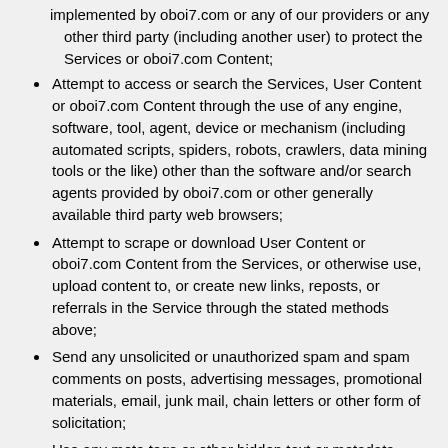implemented by oboi7.com or any of our providers or any other third party (including another user) to protect the Services or oboi7.com Content;
Attempt to access or search the Services, User Content or oboi7.com Content through the use of any engine, software, tool, agent, device or mechanism (including automated scripts, spiders, robots, crawlers, data mining tools or the like) other than the software and/or search agents provided by oboi7.com or other generally available third party web browsers;
Attempt to scrape or download User Content or oboi7.com Content from the Services, or otherwise use, upload content to, or create new links, reposts, or referrals in the Service through the stated methods above;
Send any unsolicited or unauthorized spam and spam comments on posts, advertising messages, promotional materials, email, junk mail, chain letters or other form of solicitation;
Use any meta tags or other hidden text or metadata utilizing a oboi7.com or oboi7.com trademark, logo, URL, or product name without oboi7.com's express written consent;
Use the Service for any commercial purpose or the benefit of